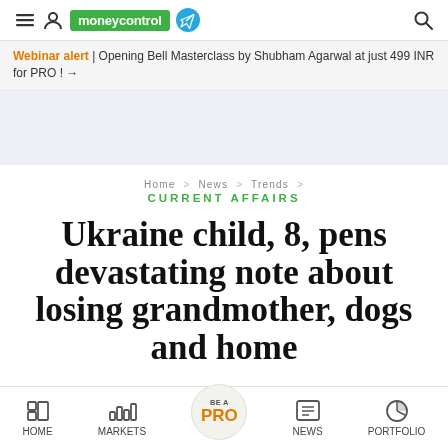moneycontrol
Webinar alert | Opening Bell Masterclass by Shubham Agarwal at just 499 INR for PRO ! →
Home > News > Trends > CURRENT AFFAIRS
Ukraine child, 8, pens devastating note about losing grandmother, dogs and home
HOME  MARKETS  BE A PRO  NEWS  PORTFOLIO